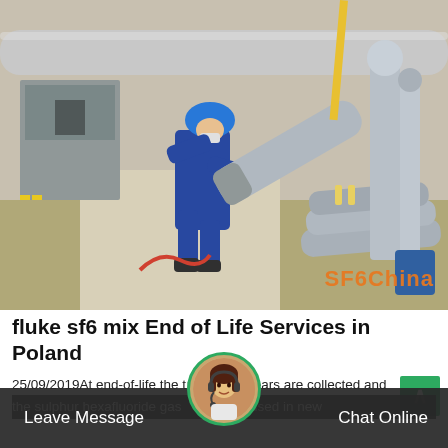[Figure (photo): Worker in blue coveralls and blue hard hat handling large grey gas cylinders at an industrial site with switchgear equipment. SF6China watermark visible in bottom right of photo.]
fluke sf6 mix End of Life Services in Poland
25/09/2019At end-of-life the t... switchgears are collected and the sulphur hexafluoride gas ... d and reused in new equipment. By comparison win...ergy avoids the emission of 255
Leave Message   Chat Online